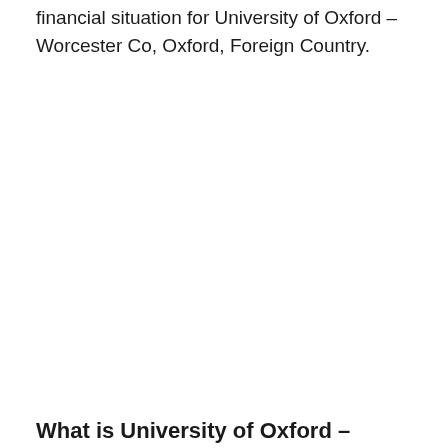financial situation for University of Oxford – Worcester Co, Oxford, Foreign Country.
What is University of Oxford –